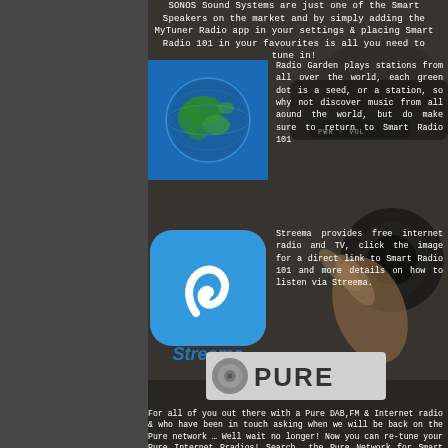SONOS Sound Systems are just one of the Smart Speakers on the market and by simply adding the MyTuner Radio app in your settings & placing Smart Radio 101 in your favourites is all you need to tune in!
[Figure (illustration): Radio Garden app icon — blue square background with a green and blue globe/earth image]
Radio Garden plays stations from all over the world, each green dot is a seed, or a station, so why not discover music from all aound the world, but do make sure to return to Smart Radio 101
[Figure (illustration): Streema app logo — blue rounded square with white swirl/radio icon, and blue Streema text below]
Streema provides free internet radio and TV, click the image for a direct link to Smart Radio 101 and more details on how to listen via Streema.
[Figure (logo): PURE logo — grey/white badge with PURE text in large letters]
For all of you out there with a Pure DAB,FM & Internet radio & who have been in touch asking when we will be back on the Pure network … Well wait no longer! Now you can re-tune your Pure Internet Rradios! Search the Pure Network for Smart Radio 101 & you're set!